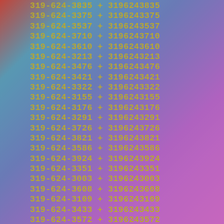319-624-3835 + 3196243835
319-624-3375 + 3196243375
319-624-3537 + 3196243537
319-624-3710 + 3196243710
319-624-3610 + 3196243610
319-624-3213 + 3196243213
319-624-3476 + 3196243476
319-624-3421 + 3196243421
319-624-3322 + 3196243322
319-624-3155 + 3196243155
319-624-3176 + 3196243176
319-624-3291 + 3196243291
319-624-3726 + 3196243726
319-624-3821 + 3196243821
319-624-3586 + 3196243586
319-624-3924 + 3196243924
319-624-3351 + 3196243351
319-624-3003 + 3196243003
319-624-3608 + 3196243608
319-624-3109 + 3196243109
319-624-3433 + 3196243433
319-624-3572 + 3196243572
319-624-3986 + 3196243986